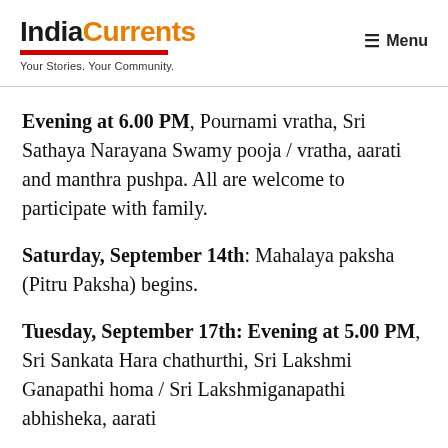IndiaCurrents — Your Stories. Your Community. — Menu
Evening at 6.00 PM, Pournami vratha, Sri Sathaya Narayana Swamy pooja / vratha, aarati and manthra pushpa. All are welcome to participate with family.
Saturday, September 14th: Mahalaya paksha (Pitru Paksha) begins.
Tuesday, September 17th: Evening at 5.00 PM, Sri Sankata Hara chathurthi, Sri Lakshmi Ganapathi homa / Sri Lakshmiganapathi abhisheka, aarati